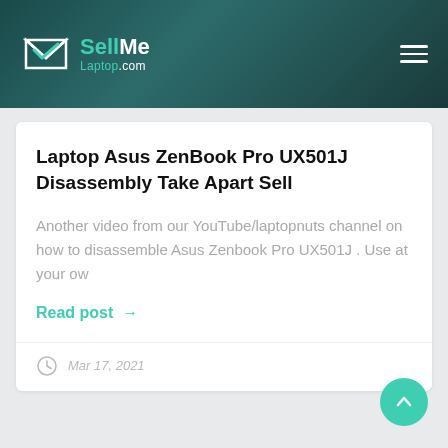SellMe Laptop.com
Laptop Asus ZenBook Pro UX501J Disassembly Take Apart Sell
Another video from our YouTube/laptopnuts channel on how to disassemble Asus Zenbook Pro UX501J . Use at your ow
Read post →
Mar 17, 2021